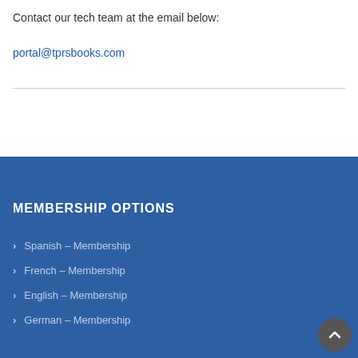Contact our tech team at the email below:
portal@tprsbooks.com
MEMBERSHIP OPTIONS
Spanish – Membership
French – Membership
English – Membership
German – Membership